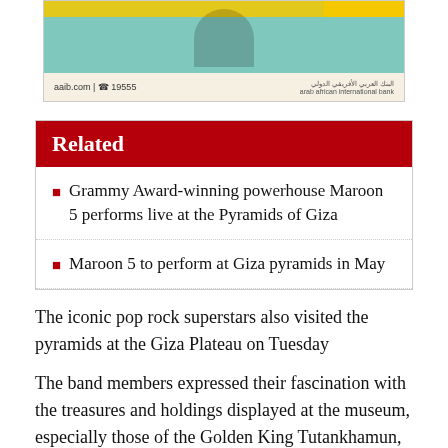[Figure (illustration): Advertisement banner for Arab African International Bank (AAIB) with teal background, decorative figure, and contact info: aaib.com | 19555]
Related
Grammy Award-winning powerhouse Maroon 5 performs live at the Pyramids of Giza
Maroon 5 to perform at Giza pyramids in May
The iconic pop rock superstars also visited the pyramids at the Giza Plateau on Tuesday
The band members expressed their fascination with the treasures and holdings displayed at the museum, especially those of the Golden King Tutankhamun, and those of Tanis, Yuya and Tuba, the ancestors of King Akhenaten, said a statement released by the Egyptian